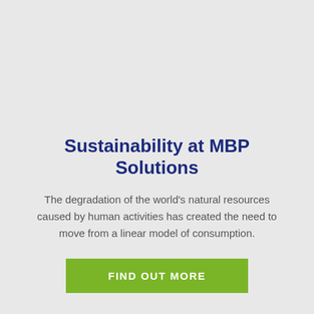Sustainability at MBP Solutions
The degradation of the world's natural resources caused by human activities has created the need to move from a linear model of consumption.
FIND OUT MORE